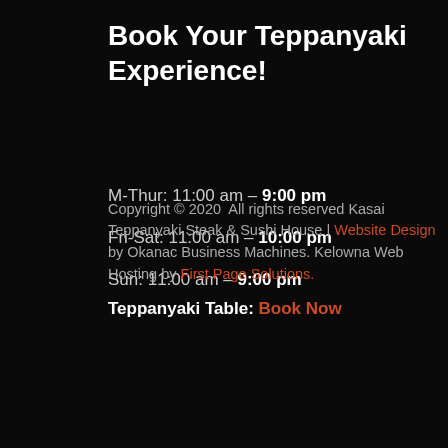Book Your Teppanyaki Experience!
M-Thur: 11:00 am – 9:00 pm
Fri-Sat: 11:00 am – 10:00 pm
Sun: 11:00 am – 9:00 pm
Teppanyaki Table: Book Now
Copyright © 2020  All rights reserved Kasai Teppanyaki Steak & Sushi House | Website Design by Okanac Business Machines. Kelowna Web Hosting by First Page Solutions.